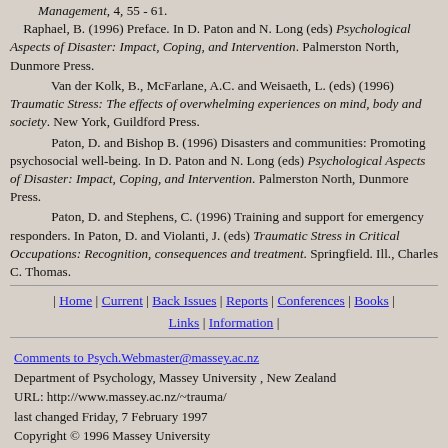Management, 4, 55 - 61.
    Raphael, B. (1996) Preface. In D. Paton and N. Long (eds) Psychological Aspects of Disaster: Impact, Coping, and Intervention. Palmerston North, Dunmore Press.
Van der Kolk, B., McFarlane, A.C. and Weisaeth, L. (eds) (1996) Traumatic Stress: The effects of overwhelming experiences on mind, body and society. New York, Guildford Press.
Paton, D. and Bishop B. (1996) Disasters and communities: Promoting psychosocial well-being. In D. Paton and N. Long (eds) Psychological Aspects of Disaster: Impact, Coping, and Intervention. Palmerston North, Dunmore Press.
Paton, D. and Stephens, C. (1996) Training and support for emergency responders. In Paton, D. and Violanti, J. (eds) Traumatic Stress in Critical Occupations: Recognition, consequences and treatment. Springfield. Ill., Charles C. Thomas.
| Home | Current | Back Issues | Reports | Conferences | Books | Links | Information |
Comments to Psych.Webmaster@massey.ac.nz
Department of Psychology, Massey University , New Zealand
URL: http://www.massey.ac.nz/~trauma/
last changed Friday, 7 February 1997
Copyright © 1996 Massey University